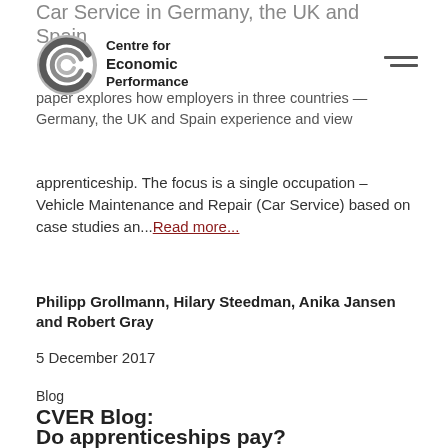Car Service in Germany, the UK and Spain
Centre for Economic Performance
paper explores how employers in three countries — Germany, the UK and Spain experience and view apprenticeship. The focus is a single occupation – Vehicle Maintenance and Repair (Car Service) based on case studies an... Read more...
Philipp Grollmann, Hilary Steedman, Anika Jansen and Robert Gray
5 December 2017
Blog
CVER Blog:
Do apprenticeships pay?
The government aims to massively increase the number of apprenticeships and to make this a more important part of the post-16 educational landscape. In our research - published today by the Sutton Trust - we investigate ...Read